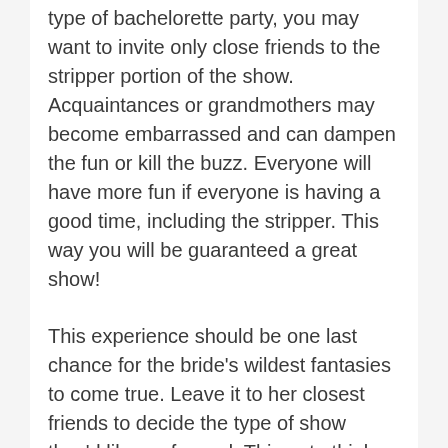type of bachelorette party, you may want to invite only close friends to the stripper portion of the show. Acquaintances or grandmothers may become embarrassed and can dampen the fun or kill the buzz. Everyone will have more fun if everyone is having a good time, including the stripper. This way you will be guaranteed a great show!
This experience should be one last chance for the bride's wildest fantasies to come true. Leave it to her closest friends to decide the type of show they'd like performed. Things to think about are what type of guy is most desirable, and what uniform they take off. The usual options include police officer, firefighter, construction worker, with more exotic get-ups including Tarzan, Superman and James Bond.